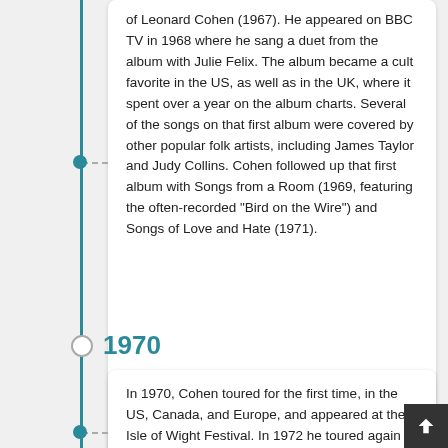of Leonard Cohen (1967). He appeared on BBC TV in 1968 where he sang a duet from the album with Julie Felix. The album became a cult favorite in the US, as well as in the UK, where it spent over a year on the album charts. Several of the songs on that first album were covered by other popular folk artists, including James Taylor and Judy Collins. Cohen followed up that first album with Songs from a Room (1969, featuring the often-recorded "Bird on the Wire") and Songs of Love and Hate (1971).
1970
In 1970, Cohen toured for the first time, in the US, Canada, and Europe, and appeared at the Isle of Wight Festival. In 1972 he toured again in Europe and Israel. When his performance in Israel didn't seem to be going well, however, he walked off the stage, went to his dressing room, and took some LSD. He then heard the